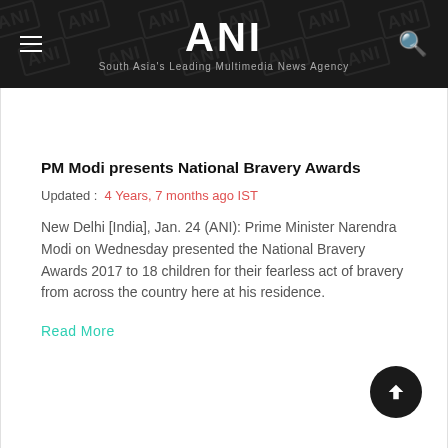ANI — South Asia's Leading Multimedia News Agency
PM Modi presents National Bravery Awards
Updated : 4 Years, 7 months ago IST
New Delhi [India], Jan. 24 (ANI): Prime Minister Narendra Modi on Wednesday presented the National Bravery Awards 2017 to 18 children for their fearless act of bravery from across the country here at his residence.
Read More